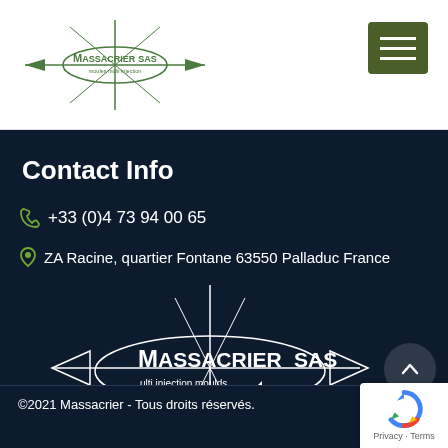[Figure (logo): Massacrier SAS logo with compass star and text 'moules multi injection']
[Figure (other): Dark olive green hamburger menu button with three white horizontal lines]
Contact Info
+33 (0)4 73 94 00 65
ZA Racine, quartier Fontane 63550 Palladuc France
[Figure (logo): Large Massacrier SAS logo with compass star on dark navy background, text reads 'MASSACRIER SAS multi injection moulds']
[Figure (other): Scroll-to-top circular button with upward chevron arrow]
©2021 Massacrier - Tous droits réservés.
[Figure (other): Google reCAPTCHA badge with Privacy and Terms links]